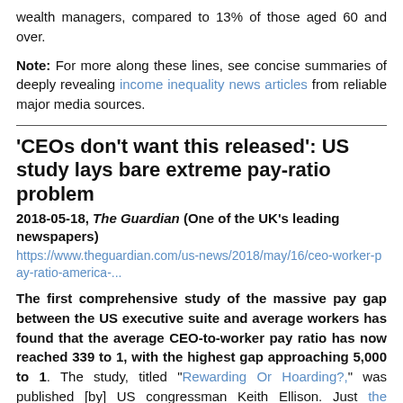wealth managers, compared to 13% of those aged 60 and over.
Note: For more along these lines, see concise summaries of deeply revealing income inequality news articles from reliable major media sources.
'CEOs don't want this released': US study lays bare extreme pay-ratio problem
2018-05-18, The Guardian (One of the UK's leading newspapers)
https://www.theguardian.com/us-news/2018/may/16/ceo-worker-pay-ratio-america-...
The first comprehensive study of the massive pay gap between the US executive suite and average workers has found that the average CEO-to-worker pay ratio has now reached 339 to 1, with the highest gap approaching 5,000 to 1. The study, titled "Rewarding Or Hoarding?," was published [by] US congressman Keith Ellison. Just the summary makes for sober reading. In 188 of the 225 companies in the report's database, a single chief executive's pay could be used to pay...